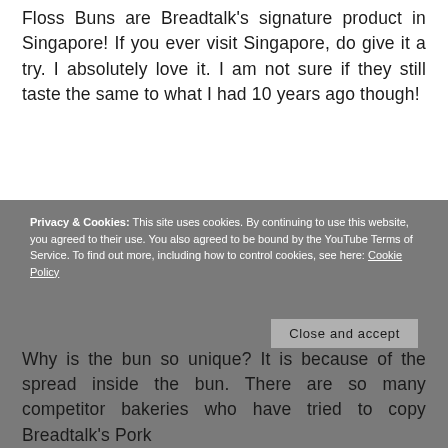Floss Buns are Breadtalk's signature product in Singapore! If you ever visit Singapore, do give it a try. I absolutely love it. I am not sure if they still taste the same to what I had 10 years ago though!
Privacy & Cookies: This site uses cookies. By continuing to use this website, you agreed to their use. You also agreed to be bound by the YouTube Terms of Service. To find out more, including how to control cookies, see here: Cookie Policy
Why is the bun so unique? It is because of the spread inside the bun. There are so many competitor bakeries who have tried to copy Breadtalk's Pork